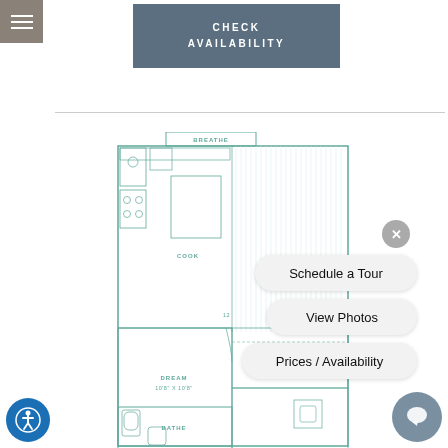[Figure (other): Hamburger menu icon in grey square top-left corner]
[Figure (other): CHECK AVAILABILITY button in muted blue-grey color]
[Figure (engineering-diagram): Apartment floor plan showing BREATHE label at top, COOK area with kitchen appliances, DREAM bedroom 10'8 x 10'8, DRESS area, and BATHE bathroom with fixtures. Rooms outlined in teal/green lines.]
[Figure (other): Close button (X) circle in grey]
Schedule a Tour
View Photos
Prices / Availability
[Figure (other): Chat bubble icon in blue-grey circle, bottom right]
[Figure (other): Accessibility icon (person in circle) in blue circle, bottom left]